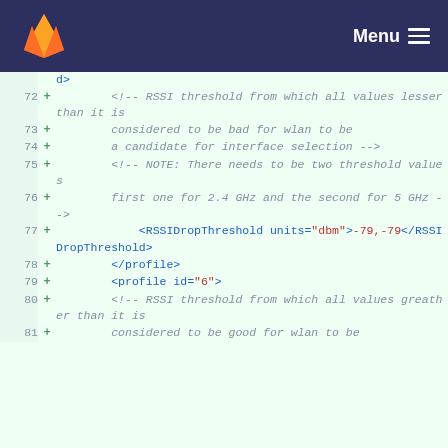Menu
Code diff showing XML configuration lines 72-81 with RSSI threshold settings for wlan interface selection and RSSIDropThreshold element